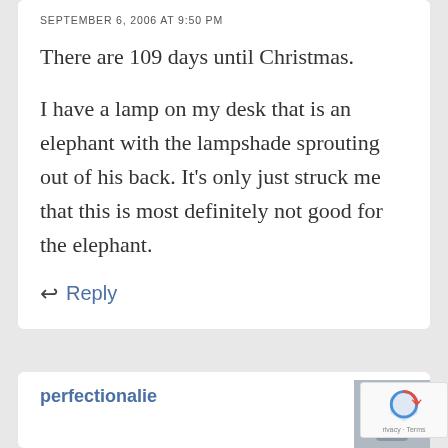SEPTEMBER 6, 2006 AT 9:50 PM
There are 109 days until Christmas.
I have a lamp on my desk that is an elephant with the lampshade sprouting out of his back. It’s only just struck me that this is most definitely not good for the elephant.
↩ Reply
perfectionalie